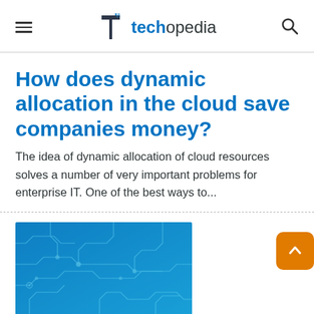techopedia
How does dynamic allocation in the cloud save companies money?
The idea of dynamic allocation of cloud resources solves a number of very important problems for enterprise IT. One of the best ways to...
[Figure (illustration): Blue circuit board background image with white circuit trace lines]